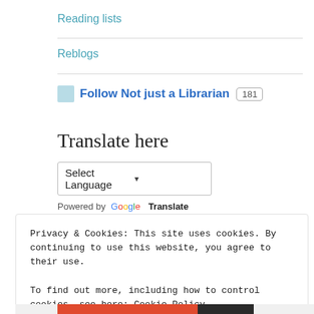Reading lists
Reblogs
Follow Not just a Librarian 181
Translate here
Select Language
Powered by Google Translate
Privacy & Cookies: This site uses cookies. By continuing to use this website, you agree to their use.
To find out more, including how to control cookies, see here: Cookie Policy
Close and accept